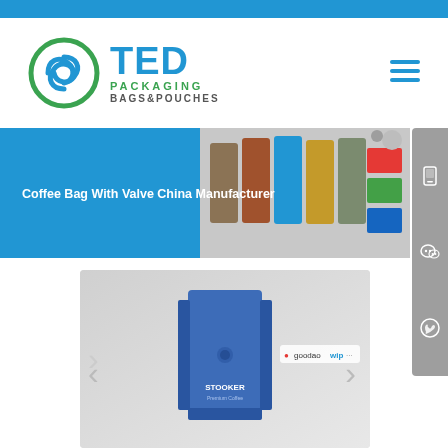[Figure (logo): TED Packaging Bags & Pouches logo with circular green swirl icon and blue TED text]
[Figure (screenshot): Banner with blue background and text 'Coffee Bag With Valve China Manufacturer' overlaid on product images of various packaging bags]
[Figure (photo): Blue flat bottom coffee bag with 'STOOKER' branding on white/grey background, shown in a product slider with left and right navigation arrows]